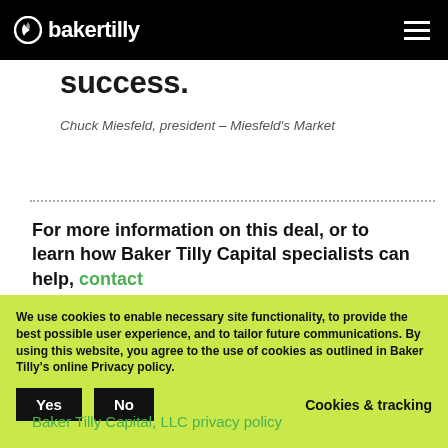bakertilly
success.
Chuck Miesfeld, president – Miesfeld's Market
For more information on this deal, or to learn how Baker Tilly Capital specialists can help, contact
We use cookies to enable necessary site functionality, to provide the best possible user experience, and to tailor future communications. By using this website, you agree to the use of cookies as outlined in Baker Tilly's online Privacy policy.
Baker Tilly Capital, LLC privacy policy